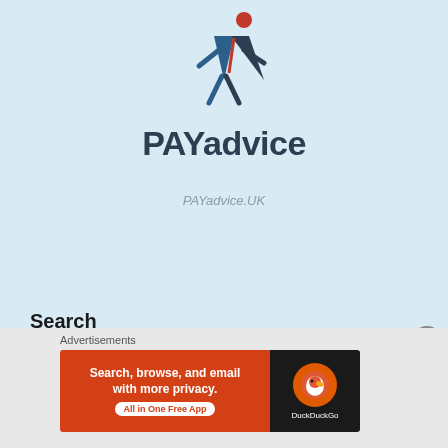[Figure (logo): PAYadvice logo with running figure icon above brand name]
PAYadvice.UK
Search
Search …
Advertisements
[Figure (screenshot): DuckDuckGo advertisement banner: Search, browse, and email with more privacy. All in One Free App — DuckDuckGo]